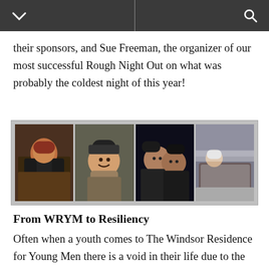their sponsors, and Sue Freeman, the organizer of our most successful Rough Night Out on what was probably the coldest night of this year!
[Figure (photo): Four photographs of participants at a Rough Night Out event in cold winter conditions. Images show individuals bundled in winter clothing outdoors at night.]
From WRYM to Resiliency
Often when a youth comes to The Windsor Residence for Young Men there is a void in their life due to the absence of healthy solid support systems, friends and family. One young man, Corey,